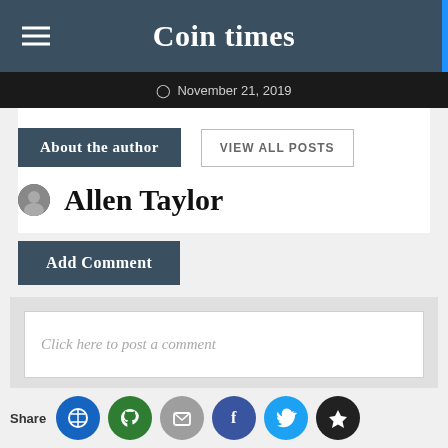Coin times
November 21, 2019
About the author
VIEW ALL POSTS
Allen Taylor
Add Comment
Click here to post a comment
Share